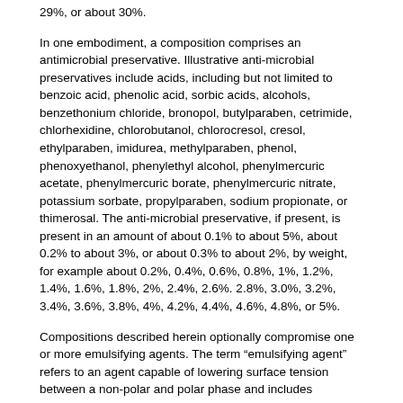29%, or about 30%.
In one embodiment, a composition comprises an antimicrobial preservative. Illustrative anti-microbial preservatives include acids, including but not limited to benzoic acid, phenolic acid, sorbic acids, alcohols, benzethonium chloride, bronopol, butylparaben, cetrimide, chlorhexidine, chlorobutanol, chlorocresol, cresol, ethylparaben, imidurea, methylparaben, phenol, phenoxyethanol, phenylethyl alcohol, phenylmercuric acetate, phenylmercuric borate, phenylmercuric nitrate, potassium sorbate, propylparaben, sodium propionate, or thimerosal. The anti-microbial preservative, if present, is present in an amount of about 0.1% to about 5%, about 0.2% to about 3%, or about 0.3% to about 2%, by weight, for example about 0.2%, 0.4%, 0.6%, 0.8%, 1%, 1.2%, 1.4%, 1.6%, 1.8%, 2%, 2.4%, 2.6%. 2.8%, 3.0%, 3.2%, 3.4%, 3.6%, 3.8%, 4%, 4.2%, 4.4%, 4.6%, 4.8%, or 5%.
Compositions described herein optionally compromise one or more emulsifying agents. The term “emulsifying agent” refers to an agent capable of lowering surface tension between a non-polar and polar phase and includes compounds defined as “self-emulsifying” agents. Suitable emulsifying agents can come from any class of pharmaceutically acceptable emulsifying agents including carbohydrates, proteins, high molecular weight alcohols, wetting agents, waxes and finely divided solids. The optional emulsifying agent, if present, is present in a composition in a